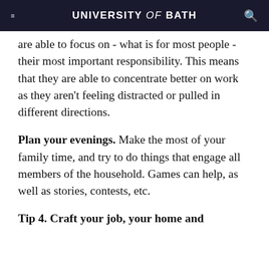UNIVERSITY of BATH
are able to focus on - what is for most people - their most important responsibility. This means that they are able to concentrate better on work as they aren't feeling distracted or pulled in different directions.
Plan your evenings. Make the most of your family time, and try to do things that engage all members of the household. Games can help, as well as stories, contests, etc.
Tip 4. Craft your job, your home and